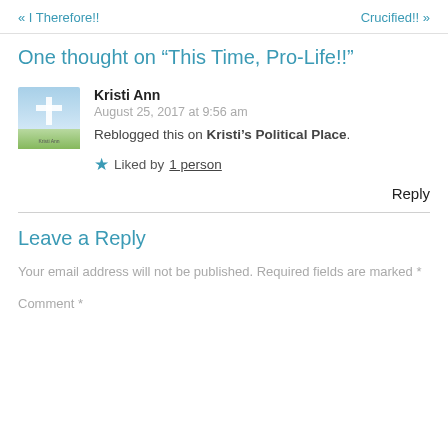« I Therefore!! Crucified!! »
One thought on “This Time, Pro-Life!!”
[Figure (illustration): Small avatar image showing a cross with sky background, labeled Kristi Ann]
Kristi Ann
August 25, 2017 at 9:56 am
Reblogged this on Kristi’s Political Place.
★ Liked by 1 person
Reply
Leave a Reply
Your email address will not be published. Required fields are marked *
Comment *